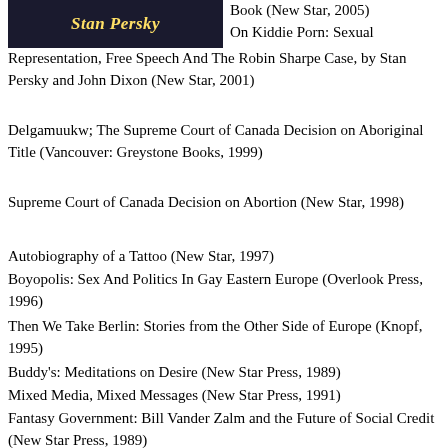[Figure (photo): Book cover image showing 'Stan Persky' in bold italic yellow text on a dark background]
Book (New Star, 2005)
On Kiddie Porn: Sexual Representation, Free Speech And The Robin Sharpe Case, by Stan Persky and John Dixon (New Star, 2001)
Delgamuukw; The Supreme Court of Canada Decision on Aboriginal Title (Vancouver: Greystone Books, 1999)
Supreme Court of Canada Decision on Abortion (New Star, 1998)
Autobiography of a Tattoo (New Star, 1997)
Boyopolis: Sex And Politics In Gay Eastern Europe (Overlook Press, 1996)
Then We Take Berlin: Stories from the Other Side of Europe (Knopf, 1995)
Buddy's: Meditations on Desire (New Star Press, 1989)
Mixed Media, Mixed Messages (New Star Press, 1991)
Fantasy Government: Bill Vander Zalm and the Future of Social Credit (New Star Press, 1989)
The Supreme Court Decision on Alberta, co-editor Shelagh Day (New Star, 1988)
The Holy Forest, introduction by Robin Blaser and Robert Creeley (Coach House, 1998)
The Solidarity Sourcebook, edited by Stan Persky and Henry Flam (New Star, 1985)